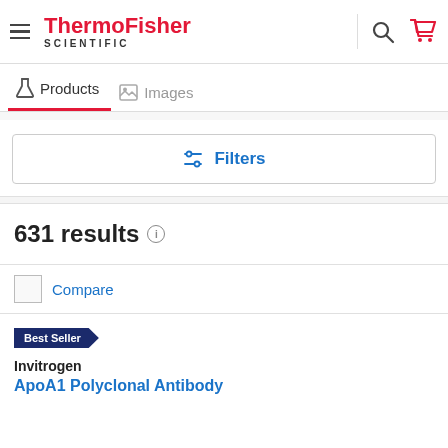[Figure (logo): ThermoFisher Scientific logo with hamburger menu, search and cart icons]
Products   Images
Filters
631 results
Compare
Best Seller
Invitrogen
ApoA1 Polyclonal Antibody